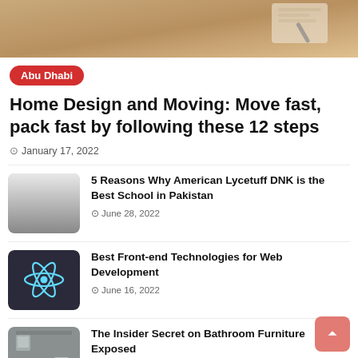[Figure (photo): Hero image showing a light brown/tan background with what appears to be a document or device in the upper right corner]
Abu Dhabi
Home Design and Moving: Move fast, pack fast by following these 12 steps
January 17, 2022
[Figure (photo): Placeholder thumbnail image with a gradient from light to dark gray]
5 Reasons Why American Lycetuff DNK is the Best School in Pakistan
June 28, 2022
[Figure (photo): Dark background photo with a React logo (atomic/orbital icon) in teal/blue]
Best Front-end Technologies for Web Development
June 16, 2022
[Figure (photo): Bathroom interior photo with toilet and sink visible]
The Insider Secret on Bathroom Furniture Exposed
November 19, 2019